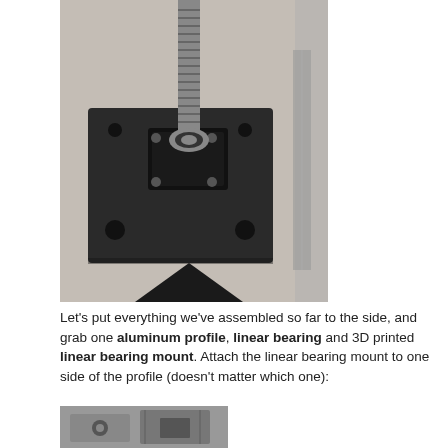[Figure (photo): Close-up photo of a 3D printed black square plate with a ball screw/lead screw and nut mount assembly on top, with an aluminum extrusion profile visible underneath. The part sits on a light-colored surface.]
Let's put everything we've assembled so far to the side, and grab one aluminum profile, linear bearing and 3D printed linear bearing mount. Attach the linear bearing mount to one side of the profile (doesn't matter which one):
[Figure (photo): Partial photo at the bottom showing a close-up of a linear bearing mount attached to an aluminum extrusion profile.]